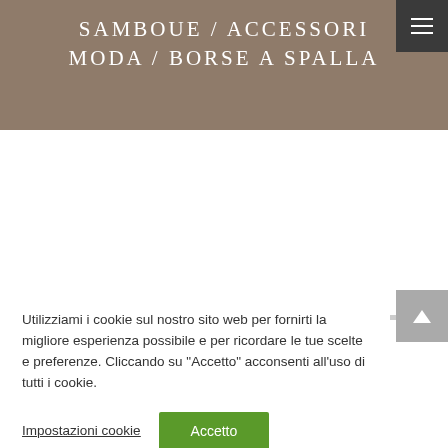SAMBOUE / ACCESSORI MODA / BORSE A SPALLA
Utilizziami i cookie sul nostro sito web per fornirti la migliore esperienza possibile e per ricordare le tue scelte e preferenze. Cliccando su "Accetto" acconsenti all'uso di tutti i cookie.
Impostazioni cookie | Accetto